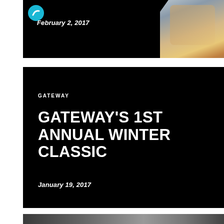[Figure (photo): Top black card with date 'February 2, 2017' and a photo of smiling children in the upper right corner, partially clipped]
February 2, 2017
[Figure (photo): Middle black card with 'GATEWAY' label and title 'GATEWAY'S 1ST ANNUAL WINTER CLASSIC', dated January 19, 2017]
GATEWAY
GATEWAY'S 1ST ANNUAL WINTER CLASSIC
January 19, 2017
[Figure (photo): Bottom partial black/dark card with a blurred photo background]